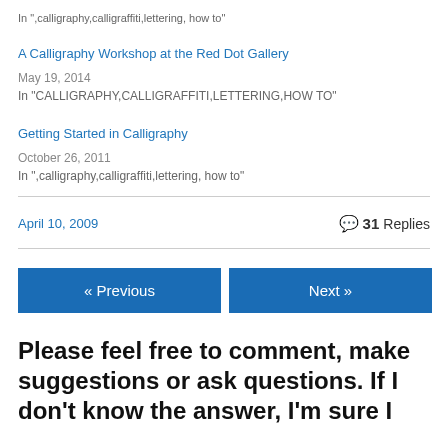In ",calligraphy,calligraffiti,lettering, how to"
A Calligraphy Workshop at the Red Dot Gallery
May 19, 2014
In "CALLIGRAPHY,CALLIGRAFFITI,LETTERING,HOW TO"
Getting Started in Calligraphy
October 26, 2011
In ",calligraphy,calligraffiti,lettering, how to"
April 10, 2009
31 Replies
« Previous
Next »
Please feel free to comment, make suggestions or ask questions. If I don't know the answer, I'm sure I